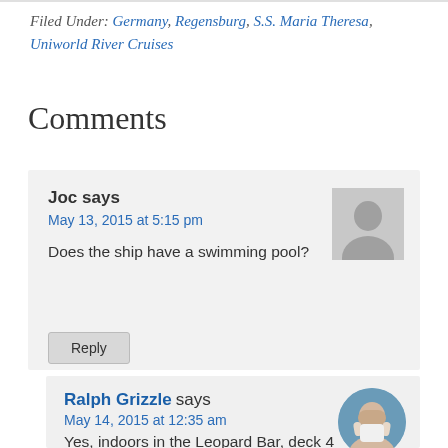Filed Under: Germany, Regensburg, S.S. Maria Theresa, Uniworld River Cruises
Comments
Joc says
May 13, 2015 at 5:15 pm
Does the ship have a swimming pool?
Reply
Ralph Grizzle says
May 14, 2015 at 12:35 am
Yes, indoors in the Leopard Bar, deck 4 aft. The glass walls enclosing the pool